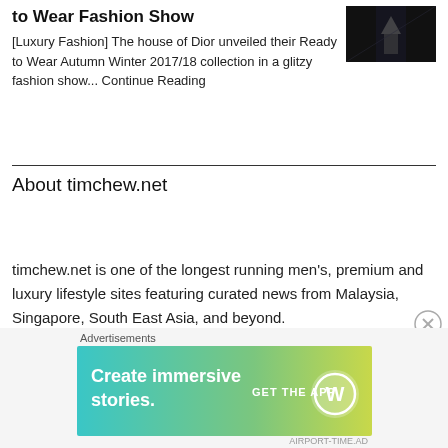to Wear Fashion Show
[Figure (photo): Dark fashion show runway photograph thumbnail]
[Luxury Fashion] The house of Dior unveiled their Ready to Wear Autumn Winter 2017/18 collection in a glitzy fashion show... Continue Reading
About timchew.net
timchew.net is one of the longest running men's, premium and luxury lifestyle sites featuring curated news from Malaysia, Singapore, South East Asia, and beyond.
Topics include business aviation, fashion, watches
[Figure (infographic): WordPress advertisement banner: Create immersive stories. GET THE APP with WordPress logo. Gradient teal to yellow-green background.]
Advertisements